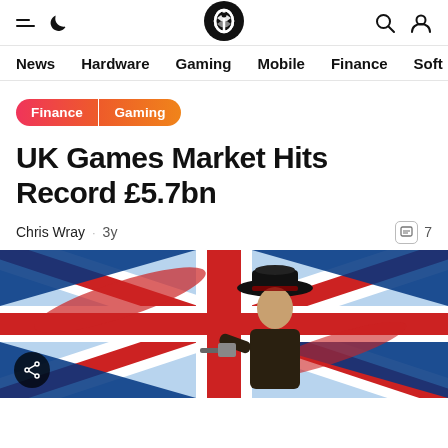Navigation bar with hamburger menu, moon icon, Pocket-lint logo, search icon, and user icon
News  Hardware  Gaming  Mobile  Finance  Soft
Finance | Gaming
UK Games Market Hits Record £5.7bn
Chris Wray · 3y    7
[Figure (photo): Hero image showing a cowboy character (from Red Dead Redemption) overlaid on a stylized UK Union Jack flag in red, white and blue with a share button in the lower left corner]